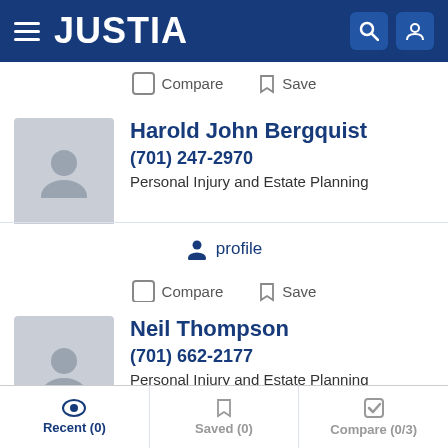[Figure (screenshot): Justia website navigation bar with hamburger menu, JUSTIA logo in white on dark blue background, search icon and user icon on the right]
Compare  Save
Harold John Bergquist
(701) 247-2970
Personal Injury and Estate Planning
profile
Compare  Save
Neil Thompson
(701) 662-2177
Personal Injury and Estate Planning
profile  email
Recent (0)  Saved (0)  Compare (0/3)